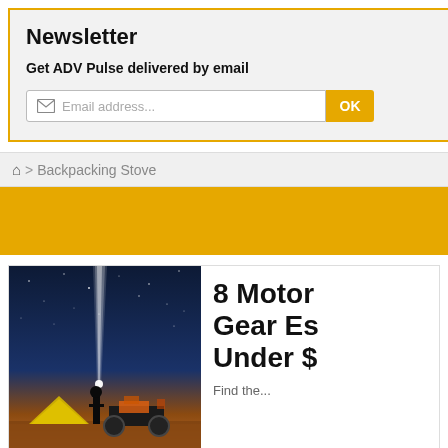Newsletter
Get ADV Pulse delivered by email
Email address...
OK
Con
Follo
> Backpacking Stove
[Figure (photo): Yellow/gold banner strip]
[Figure (photo): Night scene with person standing next to a motorcycle and a tent, with a bright light beam shooting up into a starry sky]
8 Motor Gear Es Under $